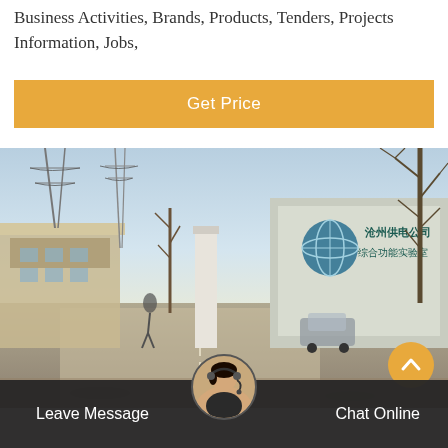Business Activities, Brands, Products, Tenders, Projects Information, Jobs,
Get Price
[Figure (photo): Outdoor photo of a Chinese industrial facility entrance with a sign reading Chinese characters (Canzhou power supply substation), bare trees, power lines, and a street scene with vehicles.]
Leave Message
Chat Online